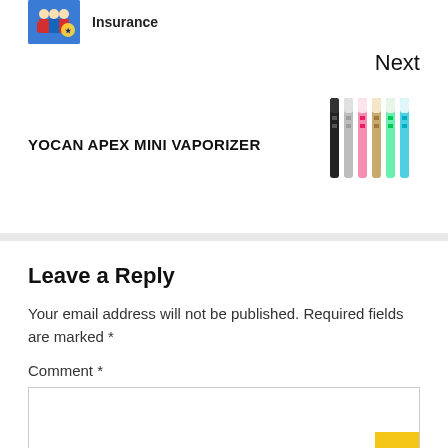[Figure (illustration): Small blue thumbnail image of people in traditional costumes]
Insurance
Next
YOCAN APEX MINI VAPORIZER
[Figure (photo): Row of colorful vaporizer pens in black, silver, pink, gold, yellow-green colors]
Leave a Reply
Your email address will not be published. Required fields are marked *
Comment *